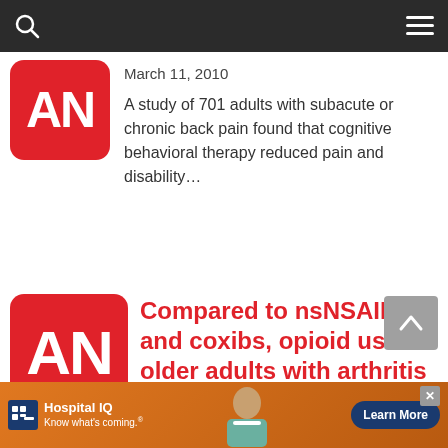Navigation bar with search and menu icons
[Figure (logo): AN logo - red rounded square with white letters AN, partially visible]
March 11, 2010
A study of 701 adults with subacute or chronic back pain found that cognitive behavioral therapy reduced pain and disability…
[Figure (logo): AN logo - red rounded square with white letters AN]
Compared to nsNSAIDs and coxibs, opioid use in older adults with arthritis increases
[Figure (other): Scroll to top button - grey square with upward arrow]
[Figure (other): Hospital IQ advertisement banner with orange background, logo, nurse image, and Learn More button]